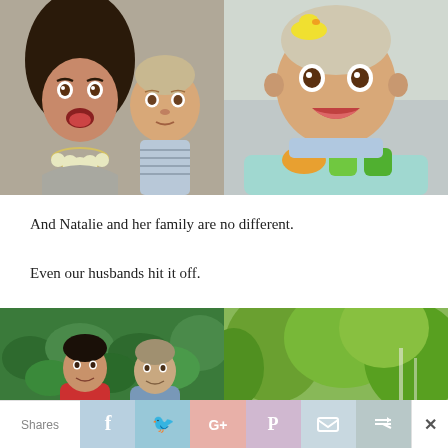[Figure (photo): Two photos side by side: left photo shows a woman with dark hair and a statement necklace taking a selfie with a baby; right photo shows a smiling baby in a colorful activity seat with rubber duck toys in the background.]
And Natalie and her family are no different.
Even our husbands hit it off.
[Figure (photo): Two photos side by side: left photo shows two men smiling in front of green hedges; right photo shows green trees.]
Shares | f | t (Twitter bird) | G+ | P (Pinterest) | mail icon | share icon | X